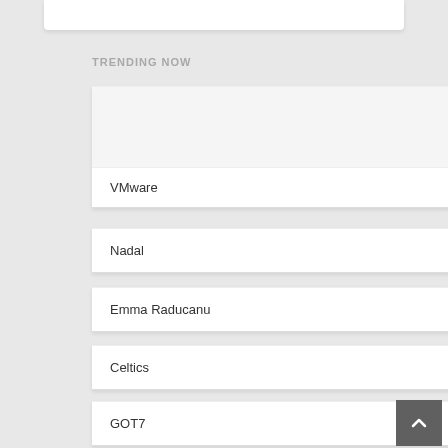TRENDING NOW
VMware
Nadal
Emma Raducanu
Celtics
GOT7
Celtics vs Heat